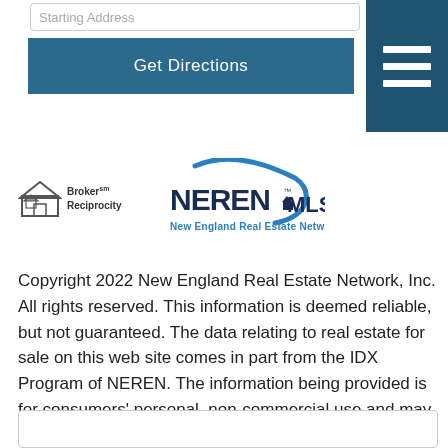Starting Address
Get Directions
[Figure (logo): Broker Reciprocity logo with house icon and text, alongside NEREN MLS New England Real Estate Network logo in blue]
Copyright 2022 New England Real Estate Network, Inc. All rights reserved. This information is deemed reliable, but not guaranteed. The data relating to real estate for sale on this web site comes in part from the IDX Program of NEREN. The information being provided is for consumers' personal, non-commercial use and may not be used for any purpose other than to identify prospective properties consumers may be interested in purchasing. Data last updated September 1, 2022 7:54 AM EDT.